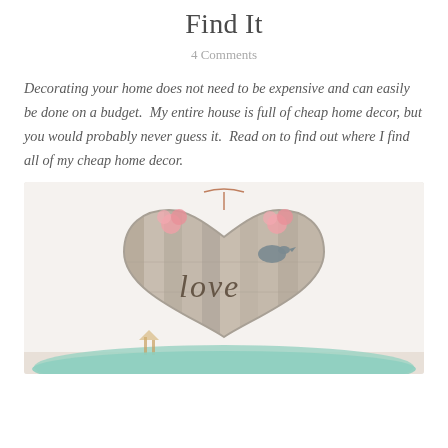Find It
4 Comments
Decorating your home does not need to be expensive and can easily be done on a budget.  My entire house is full of cheap home decor, but you would probably never guess it.  Read on to find out where I find all of my cheap home decor.
[Figure (photo): A decorative wooden heart-shaped sign with the word 'love' written on it in metal letters, placed on a shelf with floral accents and small decorative items. The background is a light wall.]